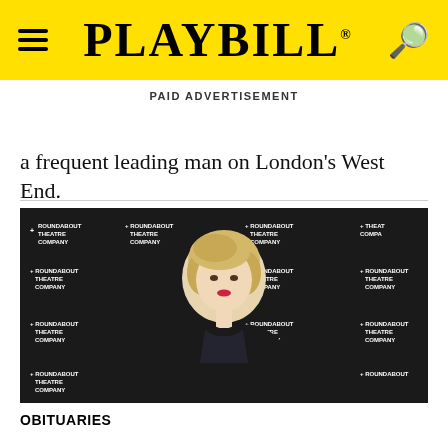PLAYBILL
PAID ADVERTISEMENT
a frequent leading man on London's West End.
[Figure (photo): Blonde woman in black dress posed in front of Roundabout Theatre Company step-and-repeat backdrop]
OBITUARIES